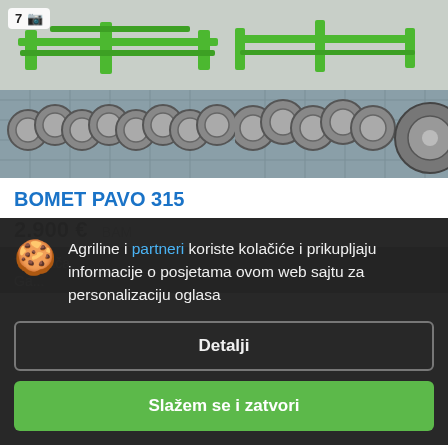[Figure (photo): Two photos of a green BOMET PAVO 315 disc harrow agricultural machine on a paved surface. Left photo shows a badge with '7' and camera icon.]
BOMET PAVO 315
2.900 €   BAM
Tanjirača
- Njema
Agriline i partneri koriste kolačiće i prikupljaju informacije o posjetama ovom web sajtu za personalizaciju oglasa
Detalji
Slažem se i zatvori